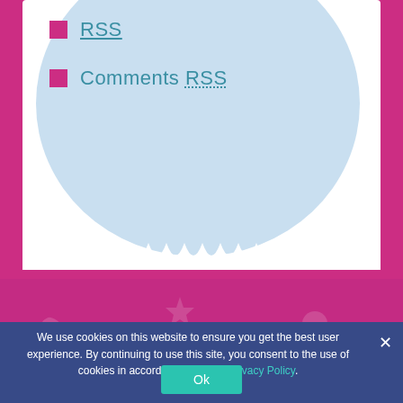RSS
Comments RSS
COPYRIGHT © 2008-2022 ELIZABETH SWIRE FALKER, ESQ., PLLC
PRIVACY POLICY
SITE MAP
We use cookies on this website to ensure you get the best user experience. By continuing to use this site, you consent to the use of cookies in accordance with our Privacy Policy.
Ok